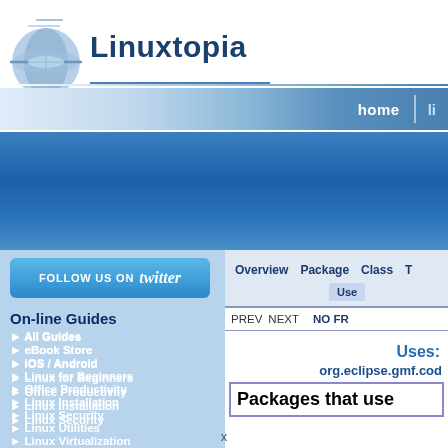[Figure (logo): Linuxtopia website logo with spinning disc/globe icon and text 'Linuxtopia']
home  li
[Figure (infographic): Large blue gradient banner header area]
[Figure (infographic): Follow us on Twitter button]
On-line Guides
All Guides
eBook Store
iOS / Android
Linux for Beginners
Office Productivity
Linux Installation
Linux Security
Linux Utilities
Linux Virtualization
Linux Kernel
System/Network Admin
Programming
| Overview | Package | Class |  | T |
| --- | --- | --- | --- | --- |
|  |  |  | Use |  |
PREV  NEXT                             NO FR
Uses:
org.eclipse.gmf.cod
Packages that use